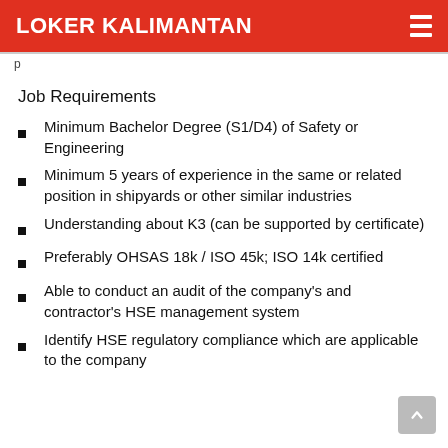LOKER KALIMANTAN
Job Requirements
Minimum Bachelor Degree (S1/D4) of Safety or Engineering
Minimum 5 years of experience in the same or related position in shipyards or other similar industries
Understanding about K3 (can be supported by certificate)
Preferably OHSAS 18k / ISO 45k; ISO 14k certified
Able to conduct an audit of the company's and contractor's HSE management system
Identify HSE regulatory compliance which are applicable to the company